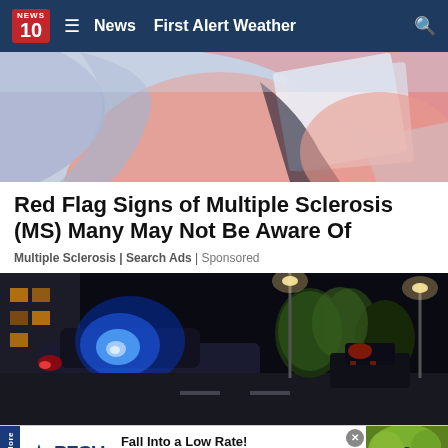News  First Alert Weather
[Figure (illustration): Illustration of a woman with pink hair and a book/document, pastel colors — pink, lavender, and blue tones]
Red Flag Signs of Multiple Sclerosis (MS) Many May Not Be Aware Of
Multiple Sclerosis | Search Ads | Sponsored
[Figure (photo): Night-time scene of a police car with blue flashing lights on a city street with trees illuminated by street lamps]
[Figure (other): PFCU Credit Union advertisement: Fall Into a Low Rate! Check out our Personal Loan Special — with star logo and autumn photo]